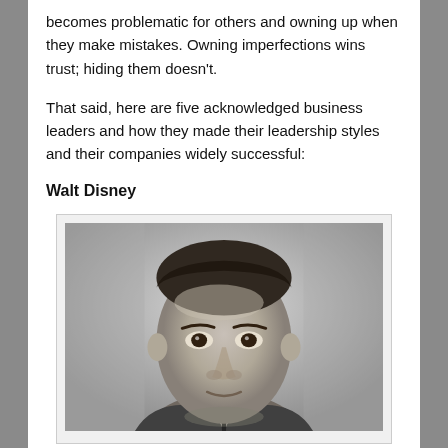becomes problematic for others and owning up when they make mistakes. Owning imperfections wins trust; hiding them doesn't.
That said, here are five acknowledged business leaders and how they made their leadership styles and their companies widely successful:
Walt Disney
[Figure (photo): Black and white portrait photograph of Walt Disney, showing his face and upper shoulders, looking directly at the camera with a serious expression.]